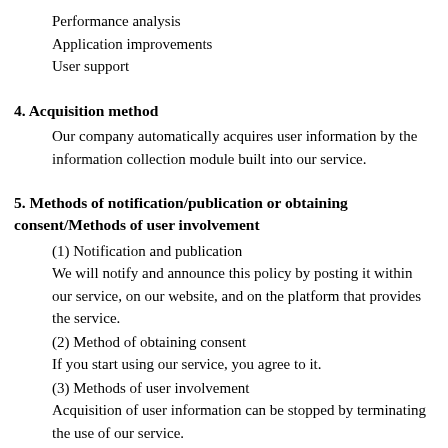Performance analysis
Application improvements
User support
4. Acquisition method
Our company automatically acquires user information by the information collection module built into our service.
5. Methods of notification/publication or obtaining consent/Methods of user involvement
(1) Notification and publication
We will notify and announce this policy by posting it within our service, on our website, and on the platform that provides the service.
(2) Method of obtaining consent
If you start using our service, you agree to it.
(3) Methods of user involvement
Acquisition of user information can be stopped by terminating the use of our service.